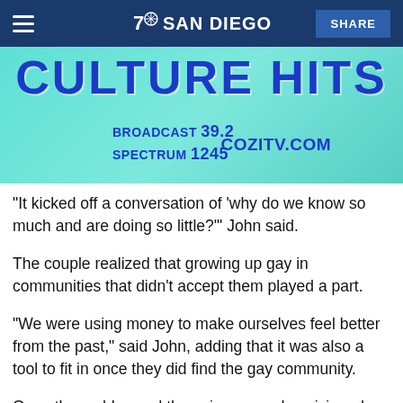7 SAN DIEGO
[Figure (photo): COZI TV advertisement banner showing 'CULTURE HITS', BROADCAST 39.2, SPECTRUM 1245, COZITV.COM with two people on a teal background]
"It kicked off a conversation of 'why do we know so much and are doing so little?'" John said.
The couple realized that growing up gay in communities that didn't accept them played a part.
"We were using money to make ourselves feel better from the past," said John, adding that it was also a tool to fit in once they did find the gay community.
Once they addressed those issues and envisioned the future they wanted — a comfortable retirement, means to travel and